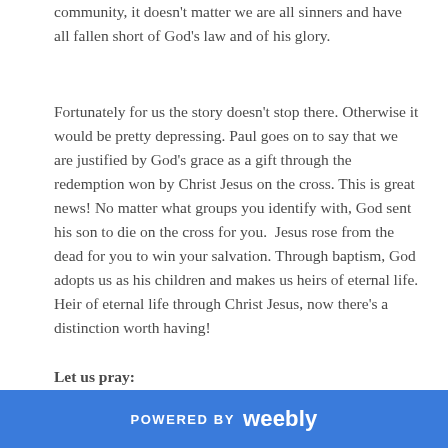community, it doesn't matter we are all sinners and have all fallen short of God's law and of his glory.
Fortunately for us the story doesn't stop there. Otherwise it would be pretty depressing. Paul goes on to say that we are justified by God's grace as a gift through the redemption won by Christ Jesus on the cross. This is great news! No matter what groups you identify with, God sent his son to die on the cross for you. Jesus rose from the dead for you to win your salvation. Through baptism, God adopts us as his children and makes us heirs of eternal life. Heir of eternal life through Christ Jesus, now there's a distinction worth having!
Let us pray:
POWERED BY weebly